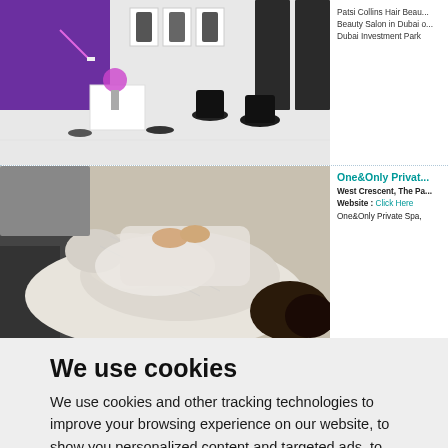[Figure (photo): Interior photo of a hair beauty salon with purple walls, white floors, styling chairs, mirrors, and salon equipment]
Patsi Collins Hair Beau... Beauty Salon in Dubai o... Dubai Investment Park
[Figure (photo): Photo of a person in a white robe receiving a spa treatment, lying face down]
One&Only Privat...
West Crescent, The Pa... Website : Click Here One&Only Private Spa,
We use cookies
We use cookies and other tracking technologies to improve your browsing experience on our website, to show you personalized content and targeted ads, to analyze our website traffic, and